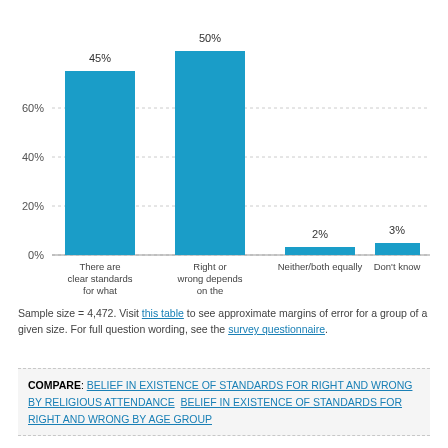[Figure (bar-chart): ]
Sample size = 4,472. Visit this table to see approximate margins of error for a group of a given size. For full question wording, see the survey questionnaire.
COMPARE: BELIEF IN EXISTENCE OF STANDARDS FOR RIGHT AND WRONG BY RELIGIOUS ATTENDANCE   BELIEF IN EXISTENCE OF STANDARDS FOR RIGHT AND WRONG BY AGE GROUP